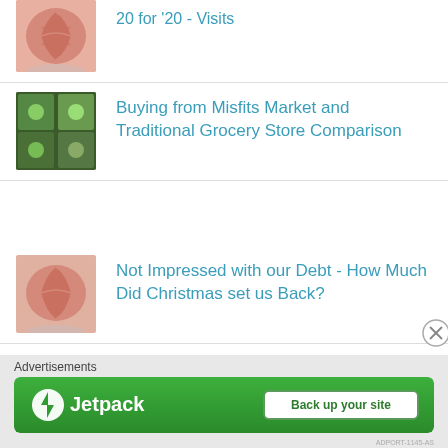20 for '20 - Visits
Buying from Misfits Market and Traditional Grocery Store Comparison
Not Impressed with our Debt - How Much Did Christmas set us Back?
Food Costs and What We Ate Last Week-July Week 1
Advertisements
[Figure (screenshot): Jetpack advertisement banner with 'Back up your site' button on green background]